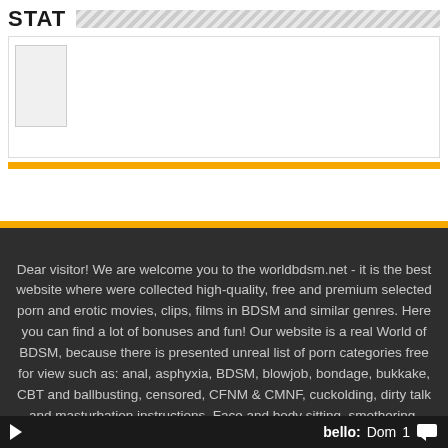STAT
[Figure (other): White content box with small grey placeholder rectangle, gold accent bar below]
Dear visitor! We are welcome you to the worldbdsm.net - it is the best website where were collected high-quality, free and premium selected porn and erotic movies, clips, films in BDSM and similar genres. Here you can find a lot of bonuses and fun! Our website is a real World of BDSM, because there is presented unreal list of porn categories free for view such as: anal, asphyxia, BDSM, blowjob, bondage, bukkake, CBT and ballbusting, censored, CFNM & CMNF, cuckolding, dirty talk and masturbation instructions, Face and body sitting, smothering, farts, female wrestling, Femdom, fighting, foot worship, foot jobs, gang bang, handjob, horror
bello: Dom 1